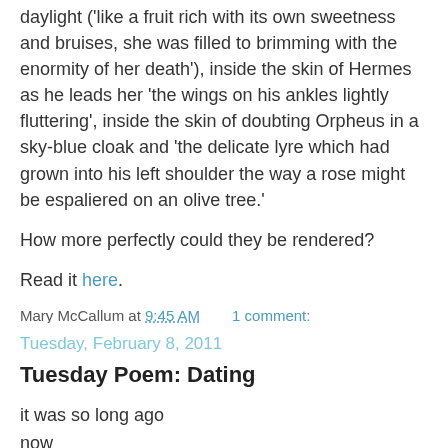daylight ('like a fruit rich with its own sweetness and bruises, she was filled to brimming with the enormity of her death'), inside the skin of Hermes as he leads her 'the wings on his ankles lightly fluttering', inside the skin of doubting Orpheus in a sky-blue cloak and 'the delicate lyre which had grown into his left shoulder the way a rose might be espaliered on an olive tree.'
How more perfectly could they be rendered?
Read it here.
Mary McCallum at 9:45 AM   1 comment:
Tuesday, February 8, 2011
Tuesday Poem: Dating
it was so long ago
now